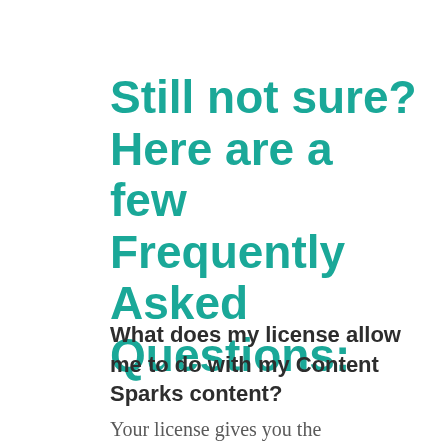Still not sure? Here are a few Frequently Asked Questions:
What does my license allow me to do with my Content Sparks content?
Your license gives you the